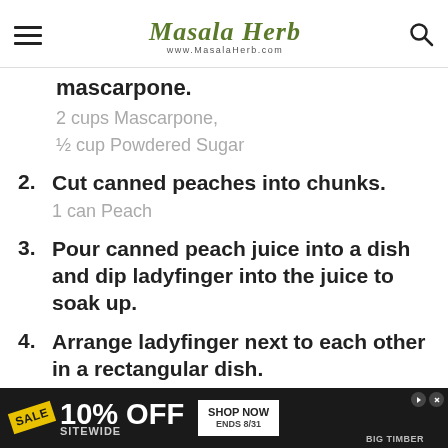www.MasalaHerb.com
mascarpone.
2 cups Mascarpone,
½ cup Powdered Sugar
2. Cut canned peaches into chunks.
1 can Peach
3. Pour canned peach juice into a dish and dip ladyfinger into the juice to soak up.
4. Arrange ladyfinger next to each other in a rectangular dish.
[Figure (screenshot): Advertisement banner: SALE 10% OFF SITEWIDE, SHOP NOW ENDS 8/31, BIG TIMBER]